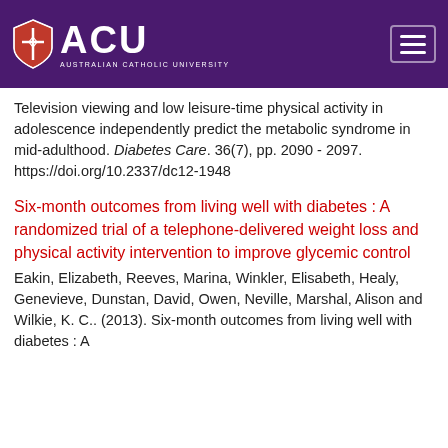[Figure (logo): ACU Australian Catholic University logo with shield icon on purple header background with hamburger menu icon]
Television viewing and low leisure-time physical activity in adolescence independently predict the metabolic syndrome in mid-adulthood. Diabetes Care. 36(7), pp. 2090 - 2097. https://doi.org/10.2337/dc12-1948
Six-month outcomes from living well with diabetes : A randomized trial of a telephone-delivered weight loss and physical activity intervention to improve glycemic control
Eakin, Elizabeth, Reeves, Marina, Winkler, Elisabeth, Healy, Genevieve, Dunstan, David, Owen, Neville, Marshal, Alison and Wilkie, K. C.. (2013). Six-month outcomes from living well with diabetes : A